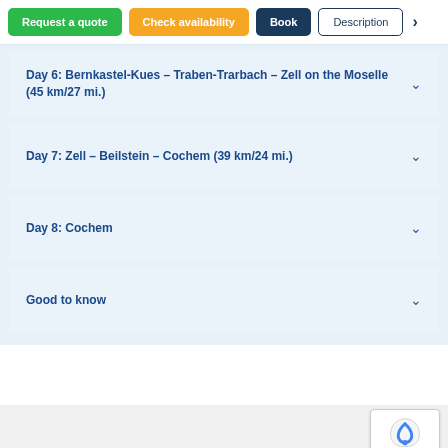Request a quote | Check availability | Book | Description | >
Day 6: Bernkastel-Kues – Traben-Trarbach – Zell on the Moselle (45 km/27 mi.)
Day 7: Zell – Beilstein – Cochem (39 km/24 mi.)
Day 8: Cochem
Good to know
Prices & information